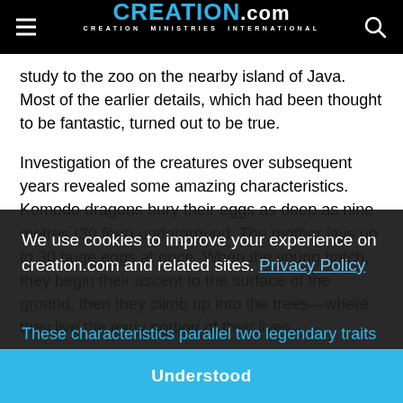CREATION.com — CREATION MINISTRIES INTERNATIONAL
study to the zoo on the nearby island of Java. Most of the earlier details, which had been thought to be fantastic, turned out to be true.
Investigation of the creatures over subsequent years revealed some amazing characteristics. Komodo dragons bury their eggs as deep as nine metres (30 feet) underground. The mother lays up to 30 huge eggs at once. When the young hatch, they begin their ascent to the surface of the ground, then they climb up into the trees—where they live the early portion of their lives.
We use cookies to improve your experience on creation.com and related sites. Privacy Policy
Understood
These characteristics parallel two legendary traits